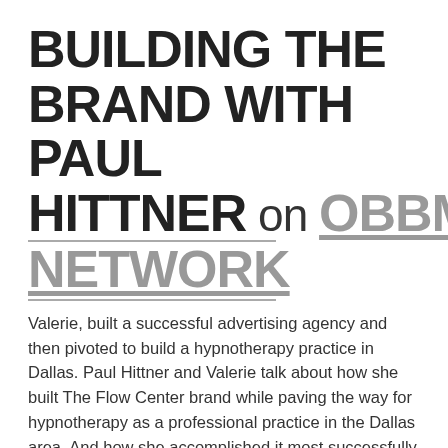BUILDING THE BRAND WITH PAUL HITTNER on OBBM NETWORK
Valerie, built a successful advertising agency and then pivoted to build a hypnotherapy practice in Dallas. Paul Hittner and Valerie talk about how she built The Flow Center brand while paving the way for hypnotherapy as a professional practice in the Dallas area. And how she accomplished it most successfully in the economic downturn times.